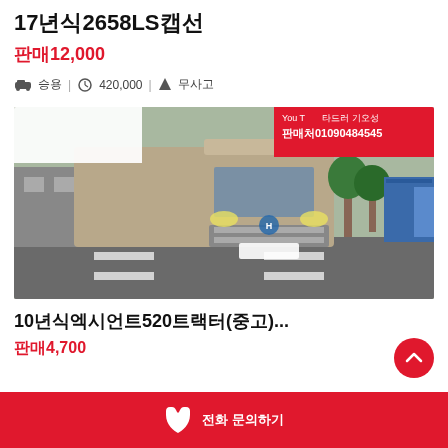17년식2658LS캡선
판매12,000
승용 | 420,000 | 무사고
[Figure (photo): Large truck (Hyundai) photographed from front-left on a wet road, with a blurred license plate box overlay and a red badge showing YouTube channel name 타드러 기오성 and phone number 판매처01090484545]
10년식엑시언트520트랙터(중고)...
판매4,700
전화 문의하기